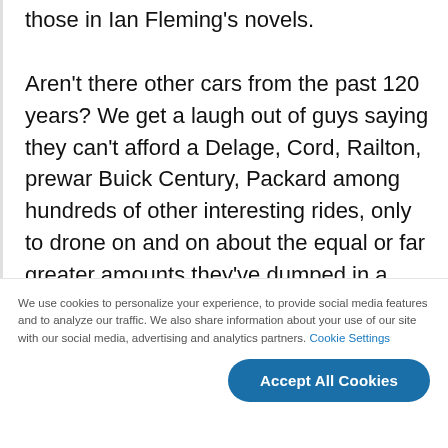those in Ian Fleming's novels.

Aren't there other cars from the past 120 years? We get a laugh out of guys saying they can't afford a Delage, Cord, Railton, prewar Buick Century, Packard among hundreds of other interesting rides, only to drone on and on about the equal or far greater amounts they've dumped in a "numbers matching" reskinned Falcon, Camaro, "muscle car," or Corvette, what
We use cookies to personalize your experience, to provide social media features and to analyze our traffic. We also share information about your use of our site with our social media, advertising and analytics partners. Cookie Settings
Accept All Cookies